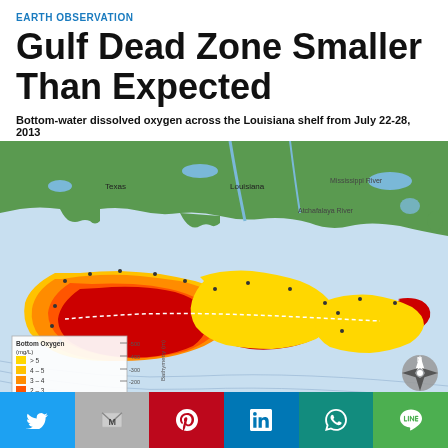EARTH OBSERVATION
Gulf Dead Zone Smaller Than Expected
Bottom-water dissolved oxygen across the Louisiana shelf from July 22-28, 2013
[Figure (map): Color-coded map showing bottom-water dissolved oxygen levels across the Louisiana shelf in the Gulf of Mexico, July 22-28, 2013. Legend shows Bottom Oxygen (mg/L): yellow >5, light orange 4-5, orange 3-4, dark orange 2-3, red <2. Large red and orange zones extend along the Louisiana coast from Texas border eastward, representing hypoxic dead zone areas.]
Share buttons: Twitter, Gmail, Pinterest, LinkedIn, WhatsApp, Line